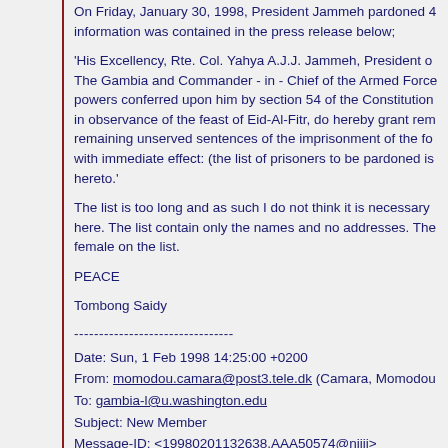On Friday, January 30, 1998, President Jammeh pardoned... information was contained in the press release below;
'His Excellency, Rte. Col. Yahya A.J.J. Jammeh, President of The Gambia and Commander - in - Chief of the Armed Forces, powers conferred upon him by section 54 of the Constitution, in observance of the feast of Eid-Al-Fitr, do hereby grant rem... remaining unserved sentences of the imprisonment of the fo... with immediate effect: (the list of prisoners to be pardoned is... hereto.'
The list is too long and as such I do not think it is necessary here. The list contain only the names and no addresses. The... female on the list.
PEACE
Tombong Saidy
--------------------------------
Date: Sun, 1 Feb 1998 14:25:00 +0200
From: momodou.camara@post3.tele.dk (Camara, Momodou
To: gambia-l@u.washington.edu
Subject: New Member
Message-ID: <19980201132638.AAA50574@nijii>
MIME-Version: 1.0
Content-type: text/plain; charset=US-ASCII
Content-transfer-encoding: 7BIT
Section...